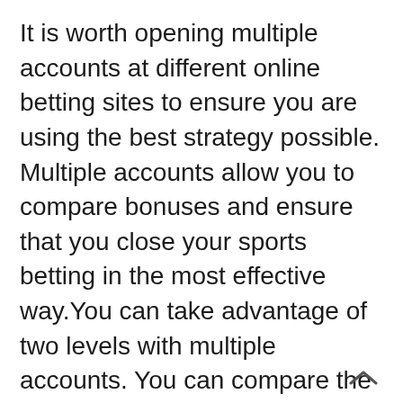It is worth opening multiple accounts at different online betting sites to ensure you are using the best strategy possible. Multiple accounts allow you to compare bonuses and ensure that you close your sports betting in the most effective way.You can take advantage of two levels with multiple accounts. You can compare the odds of a specific bet and, of course, select the highest possible. You can also take advantage of promotions and welcome bonuses at different bookmakers. These benefits will increase